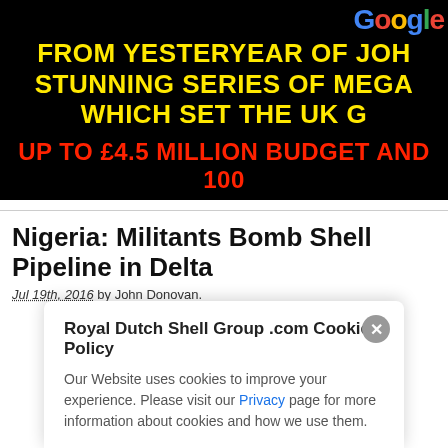[Figure (screenshot): Black banner image with Google logo top right, yellow bold text 'FROM YESTERYEAR OF JOH STUNNING SERIES OF MEGA WHICH SET THE UK G' and red bold text 'UP TO £4.5 MILLION BUDGET AND 100']
Nigeria: Militants Bomb Shell Pipeline in Delta
Jul 19th, 2016 by John Donovan.
Royal Dutch Shell Group .com Cookies Policy
Our Website uses cookies to improve your experience. Please visit our Privacy page for more information about cookies and how we use them.